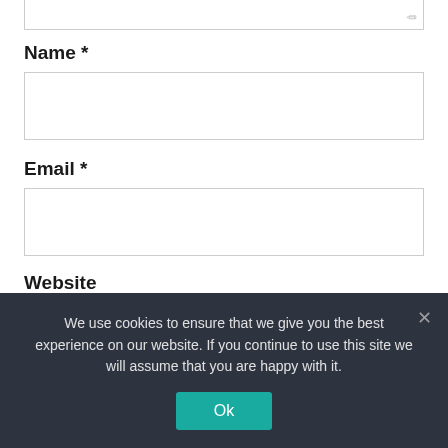[Figure (screenshot): Top of a web comment form showing a text area with resize handle at top of page]
Name *
[Figure (screenshot): Name input field (empty text box)]
Email *
[Figure (screenshot): Email input field (empty text box)]
Website
[Figure (screenshot): Website input field (empty text box)]
Save my name, email, and website in this browser for the next time I comment.
We use cookies to ensure that we give you the best experience on our website. If you continue to use this site we will assume that you are happy with it.